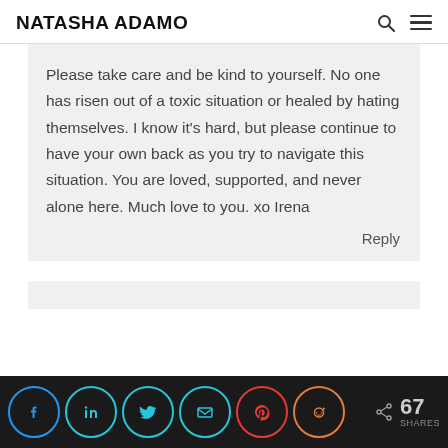NATASHA ADAMO
Please take care and be kind to yourself. No one has risen out of a toxic situation or healed by hating themselves. I know it's hard, but please continue to have your own back as you try to navigate this situation. You are loved, supported, and never alone here. Much love to you. xo Irena
Reply
[Figure (infographic): Social share bar with icons for Facebook, LinkedIn, Twitter, Email, Pinterest, Reddit and a share count showing 67 SHARES]